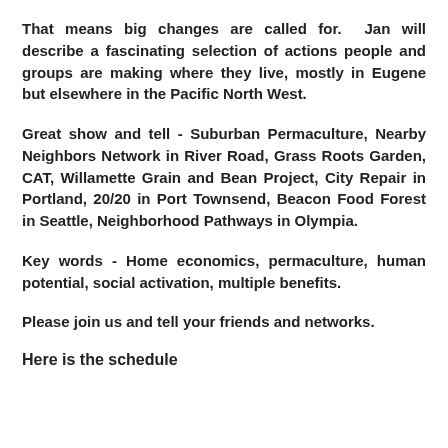That means big changes are called for. Jan will describe a fascinating selection of actions people and groups are making where they live, mostly in Eugene but elsewhere in the Pacific North West.
Great show and tell - Suburban Permaculture, Nearby Neighbors Network in River Road, Grass Roots Garden, CAT, Willamette Grain and Bean Project, City Repair in Portland, 20/20 in Port Townsend, Beacon Food Forest in Seattle, Neighborhood Pathways in Olympia.
Key words - Home economics, permaculture, human potential, social activation, multiple benefits.
Please join us and tell your friends and networks.
Here is the schedule